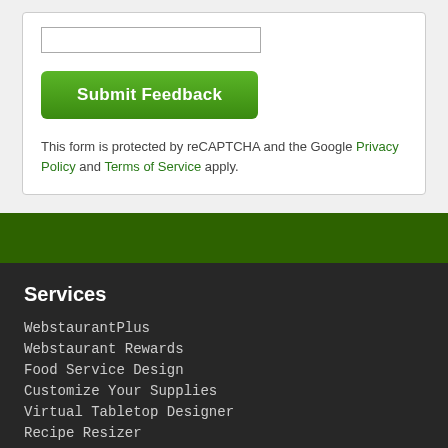[Figure (screenshot): White form card with input field, green Submit Feedback button, and reCAPTCHA notice]
This form is protected by reCAPTCHA and the Google Privacy Policy and Terms of Service apply.
Services
WebstaurantPlus
Webstaurant Rewards
Food Service Design
Customize Your Supplies
Virtual Tabletop Designer
Recipe Resizer
Resources
Scratch & Dent Outlet